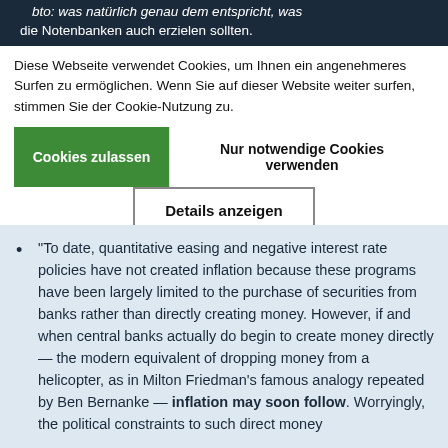bto: was natürlich genau dem entspricht, was die Notenbanken auch erzielen sollten.
When a central bank changes the value of its currency, it changes the value of its assets
Diese Webseite verwendet Cookies, um Ihnen ein angenehmeres Surfen zu ermöglichen. Wenn Sie auf dieser Website weiter surfen, stimmen Sie der Cookie-Nutzung zu.
Cookies zulassen | Nur notwendige Cookies verwenden
Details anzeigen
Das kann man gar nicht genug betonen! Das Geld verliert an Wert, nicht der echte Wert ändert sich!
“To date, quantitative easing and negative interest rate policies have not created inflation because these programs have been largely limited to the purchase of securities from banks rather than directly creating money. However, if and when central banks actually do begin to create money directly — the modern equivalent of dropping money from a helicopter, as in Milton Friedman's famous analogy repeated by Ben Bernanke — inflation may soon follow. Worryingly, the political constraints to such direct money